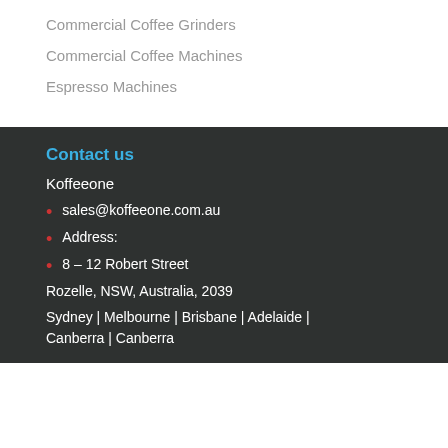Commercial Coffee Grinders
Commercial Coffee Machines
Espresso Machines
Contact us
Koffeeone
sales@koffeeone.com.au
Address:
8 – 12 Robert Street
Rozelle, NSW, Australia, 2039
Sydney | Melbourne | Brisbane | Adelaide | Canberra | Canberra